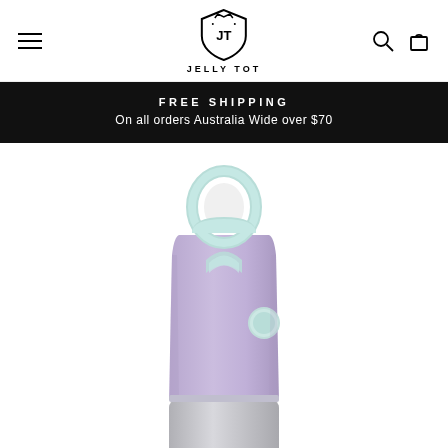JELLY TOT - Navigation header with hamburger menu, logo, search and cart icons
FREE SHIPPING
On all orders Australia Wide over $70
[Figure (photo): Close-up top portion of a lavender/purple children's insulated water bottle with mint green accent details, carrying handle loop at top, and a round mint button on the side. The bottle body transitions to silver/metallic at the bottom. White background.]